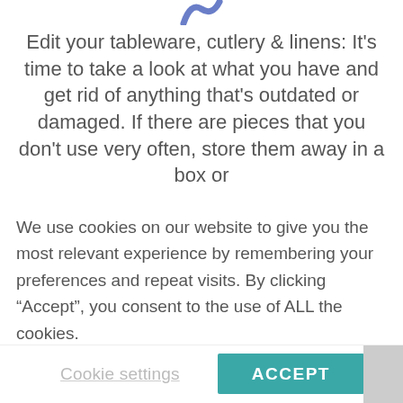[Figure (logo): Partial teal/blue curved logo or icon at top center]
Edit your tableware, cutlery & linens: It's time to take a look at what you have and get rid of anything that's outdated or damaged. If there are pieces that you don't use very often, store them away in a box or
We use cookies on our website to give you the most relevant experience by remembering your preferences and repeat visits. By clicking “Accept”, you consent to the use of ALL the cookies.
In case of sale of your personal information, you may opt out by using the link Do not sell my personal information.
Cookie settings
ACCEPT